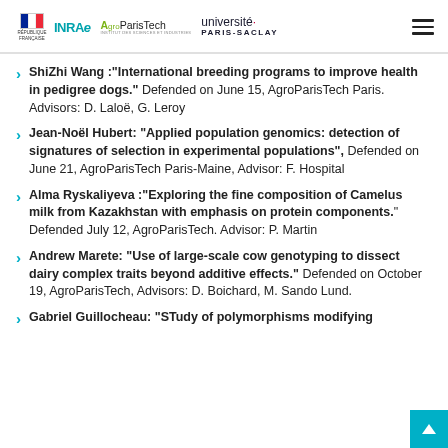République Française | INRAE | AgroParisTech | Université Paris-Saclay
ShiZhi Wang :"International breeding programs to improve health in pedigree dogs." Defended on June 15, AgroParisTech Paris. Advisors: D. Laloë, G. Leroy
Jean-Noël Hubert: "Applied population genomics: detection of signatures of selection in experimental populations", Defended on June 21, AgroParisTech Paris-Maine, Advisor: F. Hospital
Alma Ryskaliyeva :"Exploring the fine composition of Camelus milk from Kazakhstan with emphasis on protein components." Defended July 12, AgroParisTech. Advisor: P. Martin
Andrew Marete: "Use of large-scale cow genotyping to dissect dairy complex traits beyond additive effects." Defended on October 19, AgroParisTech, Advisors: D. Boichard, M. Sando Lund.
Gabriel Guillocheau: "STudy of polymorphisms modifying